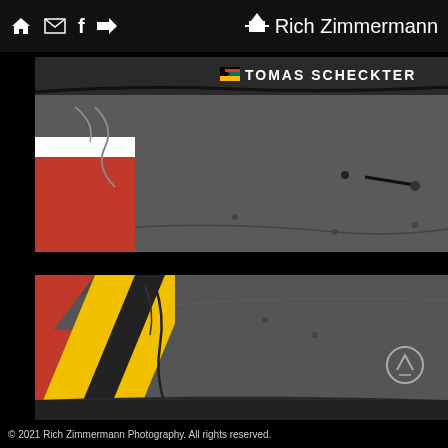Rich Zimmermann
[Figure (photo): Close-up of a racing car body showing 'TOMAS SCHECKTER' text with South African flag, dark grey bodywork with cables and wiring visible]
[Figure (photo): Close-up of a racing car bodywork with yellow and red livery stripes, dark grey carbon fibre, and upside-down 'MEIRA' text with Brazilian flag visible]
© 2021 Rich Zimmermann Photography. All rights reserved.